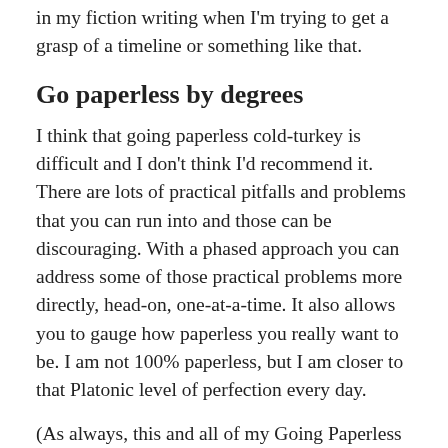in my fiction writing when I'm trying to get a grasp of a timeline or something like that.
Go paperless by degrees
I think that going paperless cold-turkey is difficult and I don't think I'd recommend it. There are lots of practical pitfalls and problems that you can run into and those can be discouraging. With a phased approach you can address some of those practical problems more directly, head-on, one-at-a-time. It also allows you to gauge how paperless you really want to be. I am not 100% paperless, but I am closer to that Platonic level of perfection every day.
(As always, this and all of my Going Paperless posts are available on Pinterest.)